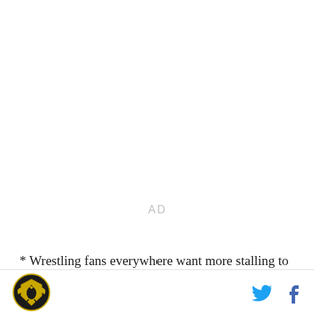AD
* Wrestling fans everywhere want more stalling to be called by referees.  Minnesota fans were every bit as quick as Iowa fans in Carver-Hawkeye Arena to get
[logo] [twitter] [facebook]